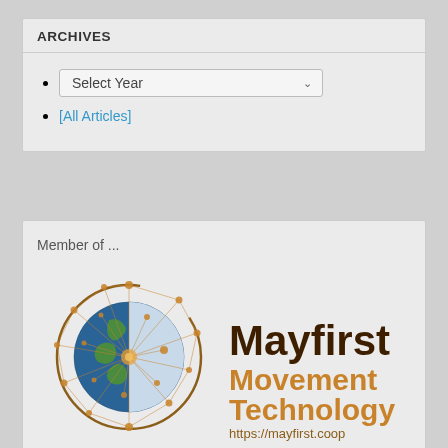ARCHIVES
Select Year
[All Articles]
Member of ...
[Figure (logo): Mayfirst Movement Technology logo with globe and network graphic. Text: Mayfirst Movement Technology https://mayfirst.coop]